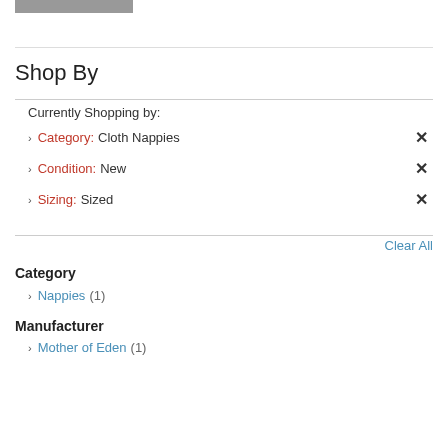[Figure (logo): Gray rectangle logo bar at top left]
Shop By
Currently Shopping by:
Category: Cloth Nappies
Condition: New
Sizing: Sized
Clear All
Category
Nappies (1)
Manufacturer
Mother of Eden (1)